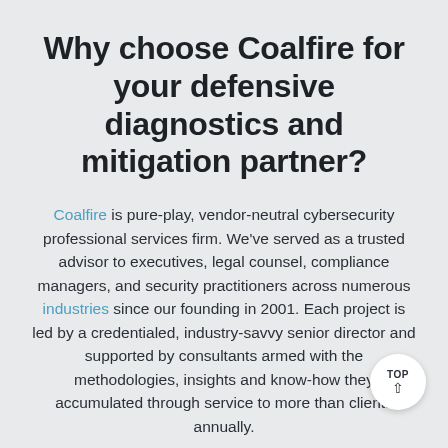Why choose Coalfire for your defensive diagnostics and mitigation partner?
Coalfire is pure-play, vendor-neutral cybersecurity professional services firm. We've served as a trusted advisor to executives, legal counsel, compliance managers, and security practitioners across numerous industries since our founding in 2001. Each project is led by a credentialed, industry-savvy senior director and supported by consultants armed with the methodologies, insights and know-how they accumulated through service to more than clients annually.